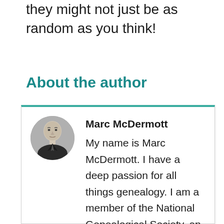they might not just be as random as you think!
About the author
[Figure (photo): Black and white circular portrait photo of Marc McDermott, a middle-aged bald man in a suit]
Marc McDermott
My name is Marc McDermott. I have a deep passion for all things genealogy. I am a member of the National Genealogical Society, an